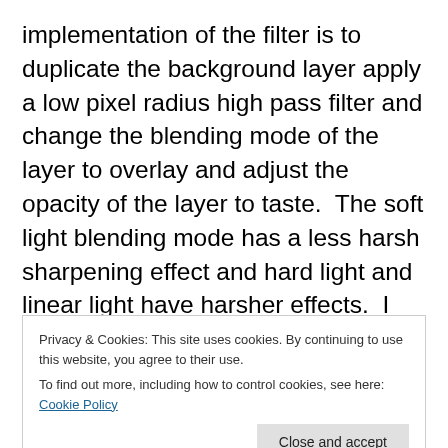implementation of the filter is to duplicate the background layer apply a low pixel radius high pass filter and change the blending mode of the layer to overlay and adjust the opacity of the layer to taste.  The soft light blending mode has a less harsh sharpening effect and hard light and linear light have harsher effects.  I find the filter useful for sharpening images that have well defined edges already such as architectural images and less so for portraits as it can be quite unflattering, incidentally an inverted high pass filter is useful for portraits for a quick smoothing of skin (used with layer mask and low opacity layer).  In the
Privacy & Cookies: This site uses cookies. By continuing to use this website, you agree to their use.
To find out more, including how to control cookies, see here: Cookie Policy
blending modes a little experimentation can yield pleasing